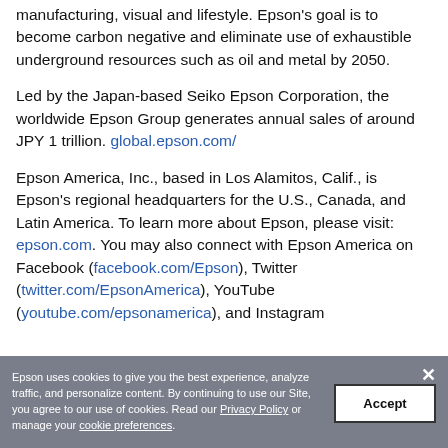manufacturing, visual and lifestyle. Epson's goal is to become carbon negative and eliminate use of exhaustible underground resources such as oil and metal by 2050.
Led by the Japan-based Seiko Epson Corporation, the worldwide Epson Group generates annual sales of around JPY 1 trillion. global.epson.com/
Epson America, Inc., based in Los Alamitos, Calif., is Epson's regional headquarters for the U.S., Canada, and Latin America. To learn more about Epson, please visit: epson.com. You may also connect with Epson America on Facebook (facebook.com/Epson), Twitter (twitter.com/EpsonAmerica), YouTube (youtube.com/epsonamerica), and Instagram
Epson uses cookies to give you the best experience, analyze traffic, and personalize content. By continuing to use our Site, you agree to our use of cookies. Read our Privacy Policy or manage your cookie preferences.